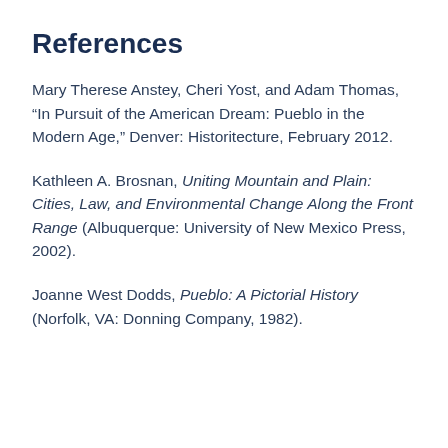References
Mary Therese Anstey, Cheri Yost, and Adam Thomas, “In Pursuit of the American Dream: Pueblo in the Modern Age,” Denver: Historitecture, February 2012.
Kathleen A. Brosnan, Uniting Mountain and Plain: Cities, Law, and Environmental Change Along the Front Range (Albuquerque: University of New Mexico Press, 2002).
Joanne West Dodds, Pueblo: A Pictorial History (Norfolk, VA: Donning Company, 1982).